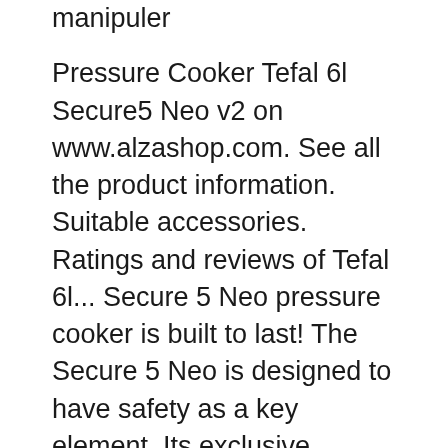manipuler
Pressure Cooker Tefal 6l Secure5 Neo v2 on www.alzashop.com. See all the product information. Suitable accessories. Ratings and reviews of Tefal 6l... Secure 5 Neo pressure cooker is built to last! The Secure 5 Neo is designed to have safety as a key element. Its exclusive security system offers the safest way to cook. It also has 2 cooking programs, one for vegetables and the other for meat and fish so you can cook all sorts of delicious and healthy meals the perfect way! And a 10 years
Save Energy When steam is released from your pressure cooker, heat can be reduced by 2/3. That's all you need! And since pressure cooking